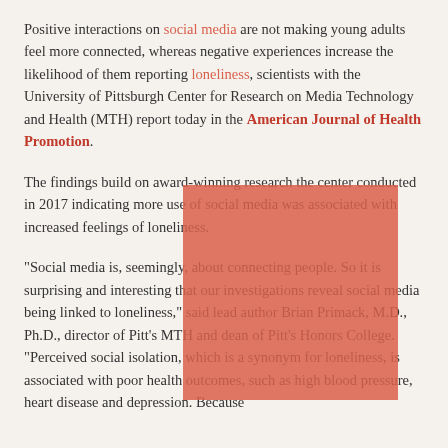Positive interactions on social media are not making young adults feel more connected, whereas negative experiences increase the likelihood of them reporting loneliness, scientists with the University of Pittsburgh Center for Research on Media Technology and Health (MTH) report today in the American Journal of Health Promotion.
[Figure (illustration): A red/salmon colored rectangle overlaid on the text, partially obscuring it.]
The findings build on award-winning research the center conducted in 2017 indicating more use of social media was associated with increased feelings of loneliness.
“Social media is, seemingly, about connecting people. So it is surprising and interesting that our investigations reveal social media being linked to loneliness,” said lead author Brian Primack, M.D., Ph.D., director of Pitt’s MTH and dean of Pitt’s Honors College. “Perceived social isolation, which is a synonym for loneliness, is associated with poor health outcomes, such as high blood pressure, heart disease and depression. Because